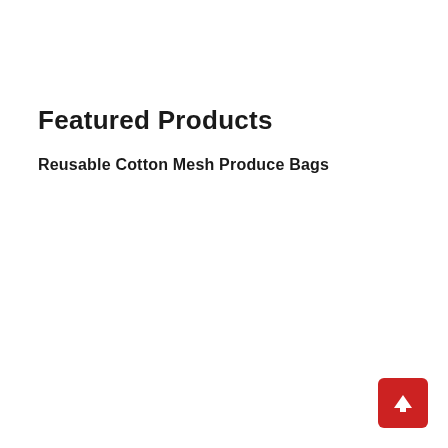Featured Products
Reusable Cotton Mesh Produce Bags